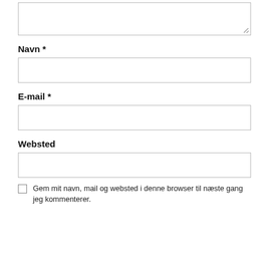[Figure (other): Textarea input box (top, partially visible, with resize handle)]
Navn *
[Figure (other): Text input box for Navn field]
E-mail *
[Figure (other): Text input box for E-mail field]
Websted
[Figure (other): Text input box for Websted field]
Gem mit navn, mail og websted i denne browser til næste gang jeg kommenterer.